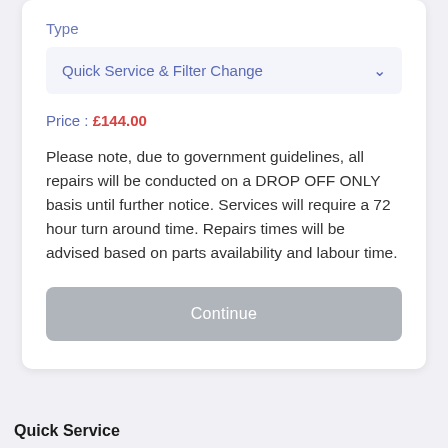Type
Quick Service & Filter Change
Price : £144.00
Please note, due to government guidelines, all repairs will be conducted on a DROP OFF ONLY basis until further notice. Services will require a 72 hour turn around time. Repairs times will be advised based on parts availability and labour time.
Continue
Quick Service